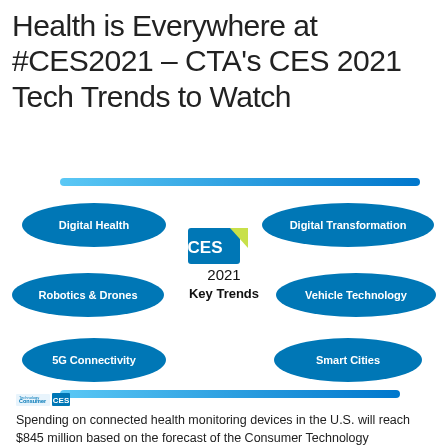Health is Everywhere at #CES2021 – CTA's CES 2021 Tech Trends to Watch
[Figure (infographic): CES 2021 Key Trends infographic showing six oval-shaped labels arranged around a central CES logo: Digital Health, Digital Transformation, Robotics & Drones, Vehicle Technology, 5G Connectivity, Smart Cities]
Spending on connected health monitoring devices in the U.S. will reach $845 million based on the forecast of the Consumer Technology Association, convening the annual